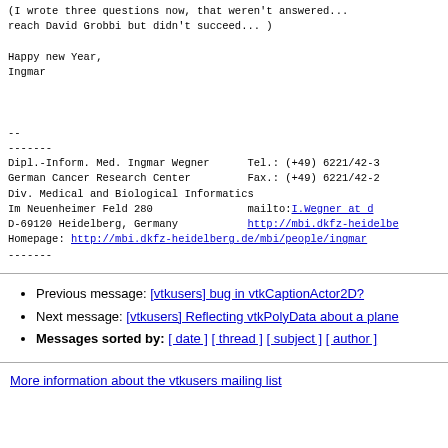(I wrote three questions now, that weren't answered... reach David Grobbi but didn't succeed... )

Happy new Year,
Ingmar


--
-------
Dipl.-Inform. Med. Ingmar Wegner      Tel.: (+49) 6221/42-3
German Cancer Research Center         Fax.: (+49) 6221/42-2
Div. Medical and Biological Informatics
Im Neuenheimer Feld 280               mailto:I.Wegner at d
D-69120 Heidelberg, Germany           http://mbi.dkfz-heidelbe
Homepage: http://mbi.dkfz-heidelberg.de/mbi/people/ingmar
-------
Previous message: [vtkusers] bug in vtkCaptionActor2D?
Next message: [vtkusers] Reflecting vtkPolyData about a plane
Messages sorted by: [ date ] [ thread ] [ subject ] [ author ]
More information about the vtkusers mailing list